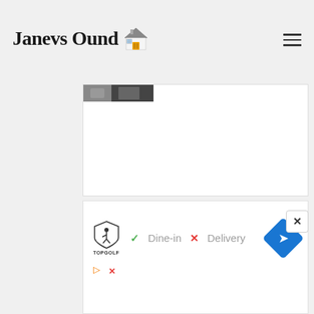Janevs Ound 🏠
[Figure (screenshot): White content card area with a partial thumbnail image in the top-left corner]
[Figure (screenshot): Advertisement banner for Topgolf showing logo, Dine-in with green checkmark, Delivery with red X, and navigation arrow icon]
Dine-in
Delivery